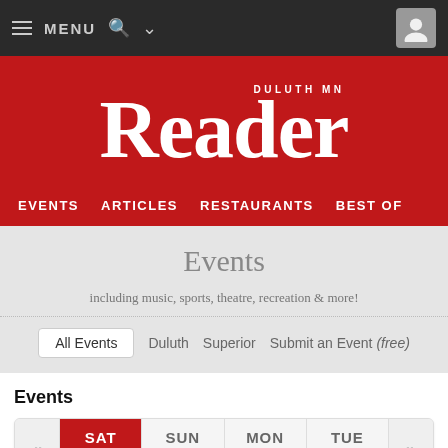≡ MENU 🔍 ∨
[Figure (logo): Duluth MN Reader logo — white serif text on red background]
EVENTS   ARTICLES   RESTAURANTS   BEST OF
Events
including music, sports, theatre, recreation & more!
All Events   Duluth   Superior   Submit an Event (free)
Events
« SAT 6/11   SUN 6/12   MON 6/13   TUE 6/14   »
DULUTH & SUPERIOR